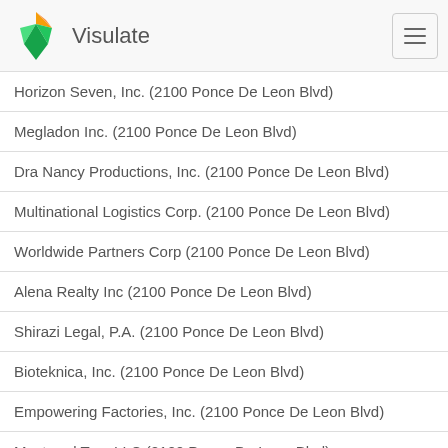Visulate
Horizon Seven, Inc. (2100 Ponce De Leon Blvd)
Megladon Inc. (2100 Ponce De Leon Blvd)
Dra Nancy Productions, Inc. (2100 Ponce De Leon Blvd)
Multinational Logistics Corp. (2100 Ponce De Leon Blvd)
Worldwide Partners Corp (2100 Ponce De Leon Blvd)
Alena Realty Inc (2100 Ponce De Leon Blvd)
Shirazi Legal, P.A. (2100 Ponce De Leon Blvd)
Bioteknica, Inc. (2100 Ponce De Leon Blvd)
Empowering Factories, Inc. (2100 Ponce De Leon Blvd)
Mastered Trax LLC (2100 Ponce De Leon Blvd)